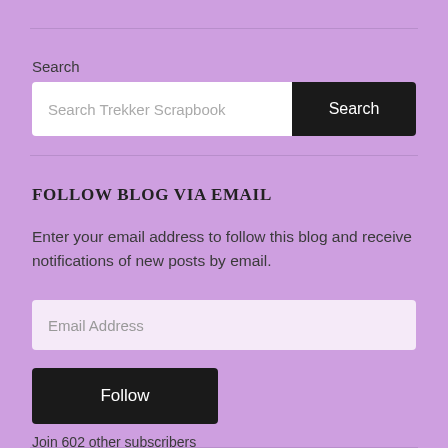Search
Search Trekker Scrapbook
FOLLOW BLOG VIA EMAIL
Enter your email address to follow this blog and receive notifications of new posts by email.
Email Address
Follow
Join 602 other subscribers